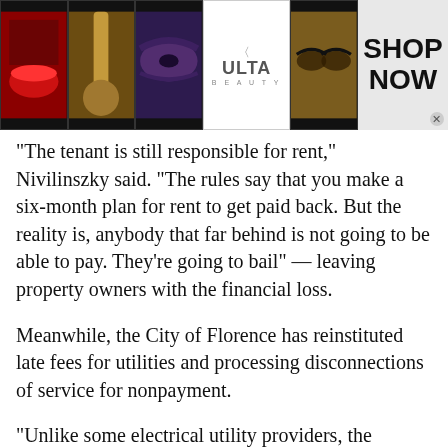[Figure (advertisement): Ulta Beauty banner advertisement at top with makeup images (lips, brush, eye, Ulta logo, eyes) and SHOP NOW button with close X]
“The tenant is still responsible for rent,” Nivilinszky said. “The rules say that you make a six-month plan for rent to get paid back. But the reality is, anybody that far behind is not going to be able to pay. They’re going to bail” — leaving property owners with the financial loss.
Meanwhile, the City of Florence has reinstituted late fees for utilities and processing disconnections of service for nonpayment.
“Unlike some electrical utility providers, the
[Figure (advertisement): Ulta Beauty banner advertisement at bottom with makeup images (lips, brush, eye, Ulta logo, eyes) and SHOP NOW button with close X]